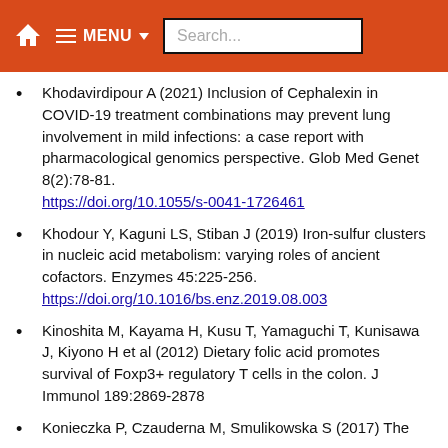MENU Search...
Khodavirdipour A (2021) Inclusion of Cephalexin in COVID-19 treatment combinations may prevent lung involvement in mild infections: a case report with pharmacological genomics perspective. Glob Med Genet 8(2):78-81. https://doi.org/10.1055/s-0041-1726461
Khodour Y, Kaguni LS, Stiban J (2019) Iron-sulfur clusters in nucleic acid metabolism: varying roles of ancient cofactors. Enzymes 45:225-256. https://doi.org/10.1016/bs.enz.2019.08.003
Kinoshita M, Kayama H, Kusu T, Yamaguchi T, Kunisawa J, Kiyono H et al (2012) Dietary folic acid promotes survival of Foxp3+ regulatory T cells in the colon. J Immunol 189:2869-2878
Konieczka P, Czauderna M, Smulikowska S (2017) The